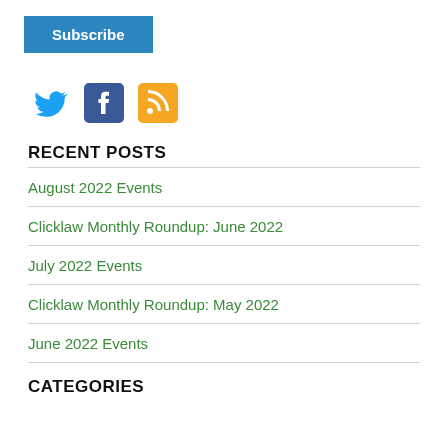[Figure (other): Subscribe button (blue rectangle with white bold text 'Subscribe')]
[Figure (other): Social media icons: Twitter (blue bird), Facebook (blue square with white f), RSS (orange square with white wifi/rss symbol)]
RECENT POSTS
August 2022 Events
Clicklaw Monthly Roundup: June 2022
July 2022 Events
Clicklaw Monthly Roundup: May 2022
June 2022 Events
CATEGORIES